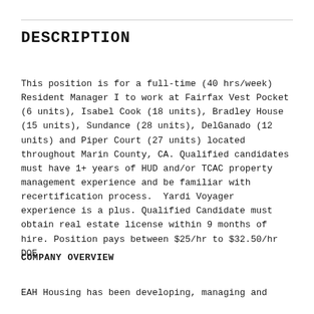DESCRIPTION
This position is for a full-time (40 hrs/week) Resident Manager I to work at Fairfax Vest Pocket (6 units), Isabel Cook (18 units), Bradley House (15 units), Sundance (28 units), DelGanado (12 units) and Piper Court (27 units) located throughout Marin County, CA. Qualified candidates must have 1+ years of HUD and/or TCAC property management experience and be familiar with recertification process.  Yardi Voyager experience is a plus. Qualified Candidate must obtain real estate license within 9 months of hire. Position pays between $25/hr to $32.50/hr DOE
COMPANY OVERVIEW
EAH Housing has been developing, managing and